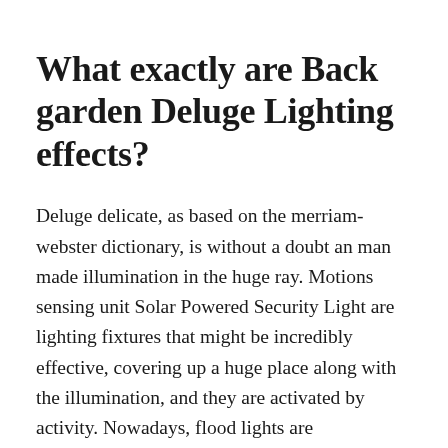What exactly are Back garden Deluge Lighting effects?
Deluge delicate, as based on the merriam-webster dictionary, is without a doubt an man made illumination in the huge ray. Motions sensing unit Solar Powered Security Light are lighting fixtures that might be incredibly effective, covering up a huge place along with the illumination, and they are activated by activity. Nowadays, flood lights are manufactured use of at dwellings as Recommended basic safety lights to minimize the chances of thieves, see packages, critters and visitors, along with strictly keep watch over an